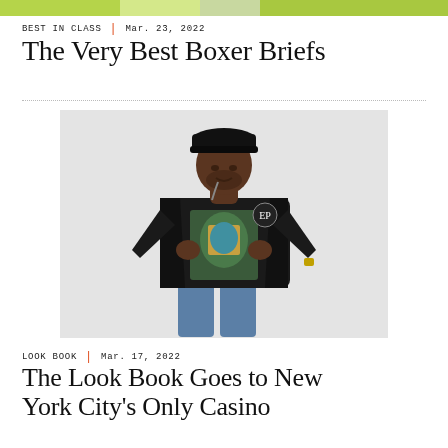[Figure (other): Decorative color bar at top with green and olive color segments]
BEST IN CLASS | Mar. 23, 2022
The Very Best Boxer Briefs
[Figure (photo): A man wearing a black leather bomber jacket open over a graphic t-shirt and blue jeans, with a black cap, standing against a light grey background]
LOOK BOOK | Mar. 17, 2022
The Look Book Goes to New York City's Only Casino